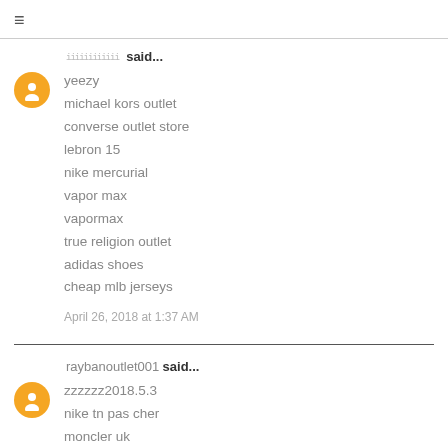≡
iiiiiiiiiiii said...
yeezy
michael kors outlet
converse outlet store
lebron 15
nike mercurial
vapor max
vapormax
true religion outlet
adidas shoes
cheap mlb jerseys

April 26, 2018 at 1:37 AM
raybanoutlet001 said...
zzzzzz2018.5.3
nike tn pas cher
moncler uk
cheap jordan shoes